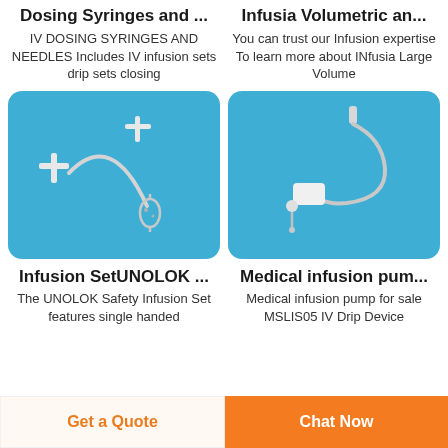Dosing Syringes and ...
IV DOSING SYRINGES AND NEEDLES Includes IV infusion sets drip sets closing
Infusia Volumetric an...
You can trust our Infusion expertise To learn more about INfusia Large Volume
[Figure (photo): White IV infusion set with tubing and connectors on blue background — UNOLOK safety infusion set]
[Figure (photo): Medical infusion pump tubing with bag spike and injection port on blue background]
Infusion SetUNOLOK ...
The UNOLOK Safety Infusion Set features single handed
Medical infusion pum...
Medical infusion pump for sale MSLIS05 IV Drip Device
Get a Quote
Chat Now